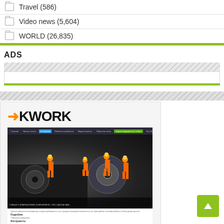Travel (586)
Video news (5,604)
WORLD (26,835)
ADS
[Figure (screenshot): Kwork advertisement banner showing the Kwork logo and a screenshot of the Kwork website with miniature orange construction workers on a hard drive]
[Figure (other): Green scroll-to-top button with upward arrow]